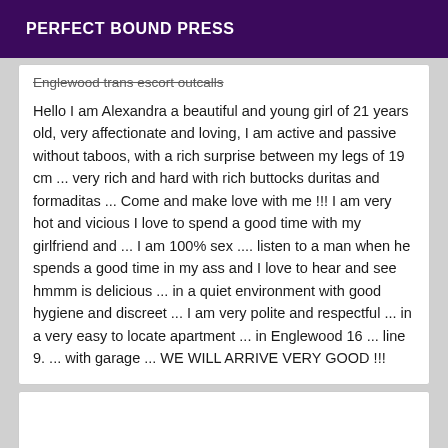PERFECT BOUND PRESS
Englewood trans escort outcalls
Hello I am Alexandra a beautiful and young girl of 21 years old, very affectionate and loving, I am active and passive without taboos, with a rich surprise between my legs of 19 cm ... very rich and hard with rich buttocks duritas and formaditas ... Come and make love with me !!! I am very hot and vicious I love to spend a good time with my girlfriend and ... I am 100% sex .... listen to a man when he spends a good time in my ass and I love to hear and see hmmm is delicious ... in a quiet environment with good hygiene and discreet ... I am very polite and respectful ... in a very easy to locate apartment ... in Englewood 16 ... line 9. ... with garage ... WE WILL ARRIVE VERY GOOD !!!